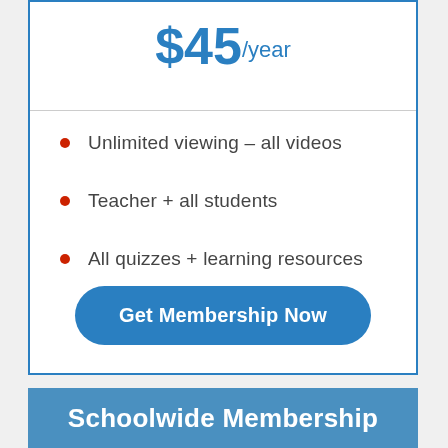$45/year
Unlimited viewing – all videos
Teacher + all students
All quizzes + learning resources
Get Membership Now
Schoolwide Membership